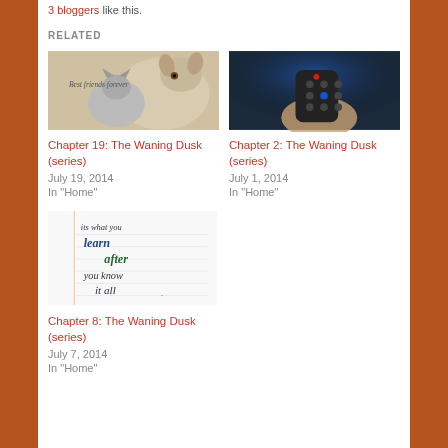3 bloggers like this.
RELATED
[Figure (photo): A dog and a cat together with text 'Best friends forever']
Chapter 19: The Waning Dusk (series)
July 19, 2014
In "Home"
[Figure (photo): A hand holding a TV remote control with blue background]
Chapter 2: The Waning Dusk (series)
July 1, 2014
In "Home"
[Figure (photo): Handwritten text reading 'its what you learn after you know it all']
Chapter 8: The Waning Dusk (series)
July 7, 2014
In "Home"